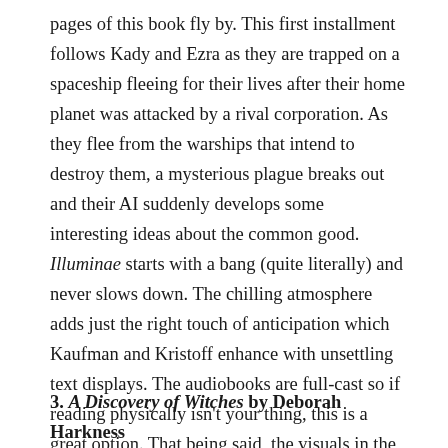pages of this book fly by. This first installment follows Kady and Ezra as they are trapped on a spaceship fleeing for their lives after their home planet was attacked by a rival corporation. As they flee from the warships that intend to destroy them, a mysterious plague breaks out and their AI suddenly develops some interesting ideas about the common good. Illuminae starts with a bang (quite literally) and never slows down. The chilling atmosphere adds just the right touch of anticipation which Kaufman and Kristoff enhance with unsettling text displays. The audiobooks are full-cast so if reading physically isn't your thing, this is a great option. That being said, the visuals in the book are truly breathtaking if you get the chance to check them out.
3. A Discovery of Witches by Deborah Harkness